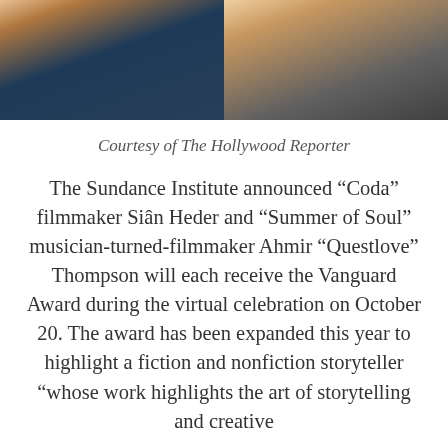[Figure (photo): Two people photographed from shoulders up; person on left wearing dark clothing with blue scarf, person on right with blonde hair wearing dark blazer]
Courtesy of The Hollywood Reporter
The Sundance Institute announced “Coda” filmmaker Siân Heder and “Summer of Soul” musician-turned-filmmaker Ahmir “Questlove” Thompson will each receive the Vanguard Award during the virtual celebration on October 20. The award has been expanded this year to highlight a fiction and nonfiction storyteller “whose work highlights the art of storytelling and creative